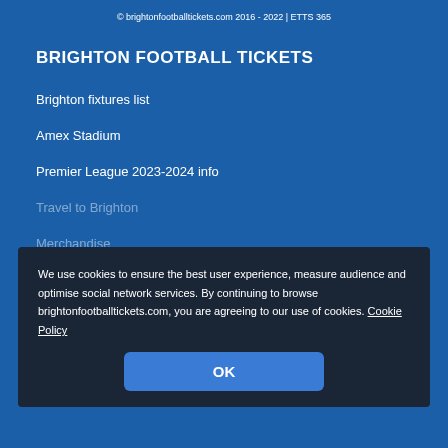© brightonfootballtickets.com 2016 - 2022 | ETTS 365
BRIGHTON FOOTBALL TICKETS
Brighton fixtures list
Amex Stadium
Premier League 2023-2024 info
Travel to Brighton
Merchandise
POPULAR BRIGHTON MATCHES
Brighton vs Manchester United tickets
Brighton vs Manchester City tickets
We use cookies to ensure the best user experience, measure audience and optimise social network services. By continuing to browse brightonfootballtickets.com, you are agreeing to our use of cookies. Cookie Policy
OK